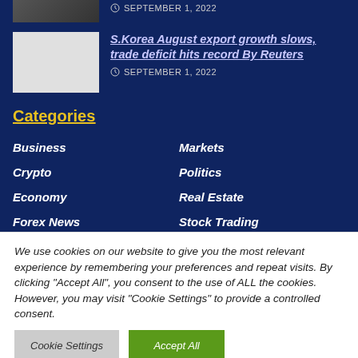[Figure (photo): Partially visible news article thumbnail image at top]
SEPTEMBER 1, 2022
[Figure (photo): White/blank thumbnail image for S.Korea article]
S.Korea August export growth slows, trade deficit hits record By Reuters
SEPTEMBER 1, 2022
Categories
Business
Markets
Crypto
Politics
Economy
Real Estate
Forex News
Stock Trading
We use cookies on our website to give you the most relevant experience by remembering your preferences and repeat visits. By clicking "Accept All", you consent to the use of ALL the cookies. However, you may visit "Cookie Settings" to provide a controlled consent.
Cookie Settings
Accept All